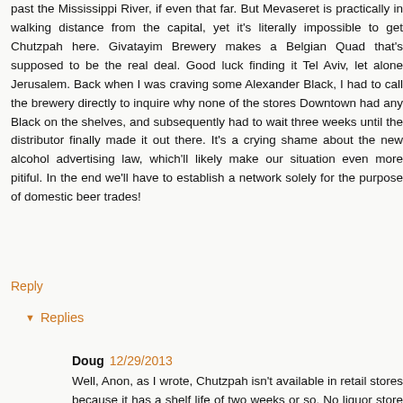past the Mississippi River, if even that far. But Mevaseret is practically in walking distance from the capital, yet it's literally impossible to get Chutzpah here. Givatayim Brewery makes a Belgian Quad that's supposed to be the real deal. Good luck finding it Tel Aviv, let alone Jerusalem. Back when I was craving some Alexander Black, I had to call the brewery directly to inquire why none of the stores Downtown had any Black on the shelves, and subsequently had to wait three weeks until the distributor finally made it out there. It's a crying shame about the new alcohol advertising law, which'll likely make our situation even more pitiful. In the end we'll have to establish a network solely for the purpose of domestic beer trades!
Reply
Replies
Doug 12/29/2013
Well, Anon, as I wrote, Chutzpah isn't available in retail stores because it has a shelf life of two weeks or so. No liquor store will accept it on that condition. However, if it starts to roll out in kegs,